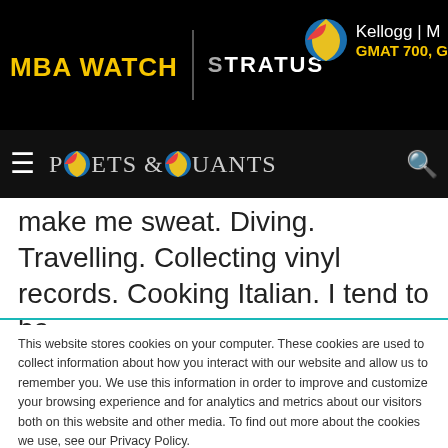[Figure (screenshot): Top black navigation bar with MBA WATCH logo in yellow, Stratus logo in white, and Kellogg advertisement with globe icon showing 'Kellogg | M' and 'GMAT 700, G' in yellow]
[Figure (logo): Poets & Quants website navigation bar with hamburger menu, Poets & Quants logo with colored globe icons replacing O letters, and search magnifier icon]
make me sweat. Diving. Travelling. Collecting vinyl records. Cooking Italian. I tend to be
This website stores cookies on your computer. These cookies are used to collect information about how you interact with our website and allow us to remember you. We use this information in order to improve and customize your browsing experience and for analytics and metrics about our visitors both on this website and other media. To find out more about the cookies we use, see our Privacy Policy.
If you decline, your information won't be tracked when you visit this website. A single cookie will be used in your browser to remember your preference not to be tracked.